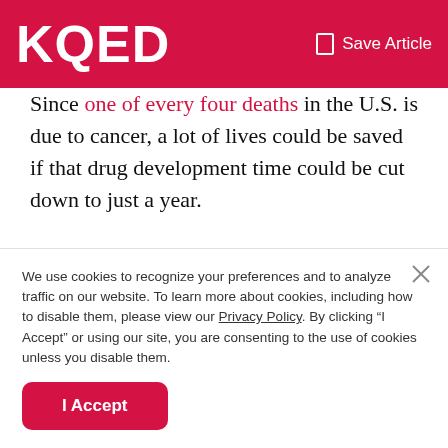KQED | Save Article
Since one of every four deaths in the U.S. is due to cancer, a lot of lives could be saved if that drug development time could be cut down to just a year.
Cancer researchers at UCSF and computer scientists at Lawrence Livermore National Laboratory are partnering with researchers from the National Cancer Institute's Frederick National Laboratory and pharmaceutical giant GlaxoSmithKline (GSK) in an attempt to do just that.
We use cookies to recognize your preferences and to analyze traffic on our website. To learn more about cookies, including how to disable them, please view our Privacy Policy. By clicking “I Accept” or using our site, you are consenting to the use of cookies unless you disable them.